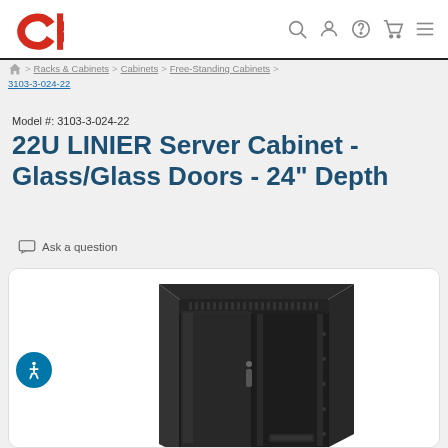CK logo and navigation icons (search, account, help, cart, menu)
Racks & Cabinets > Cabinets > Free-Standing Cabinets > 3103-3-024-22
Model #: 3103-3-024-22
22U LINIER Server Cabinet - Glass/Glass Doors - 24" Depth
Ask a question
[Figure (photo): Photo of a 22U LINIER Server Cabinet with glass front and rear doors, black finish, shown at an angle revealing the interior rack rails]